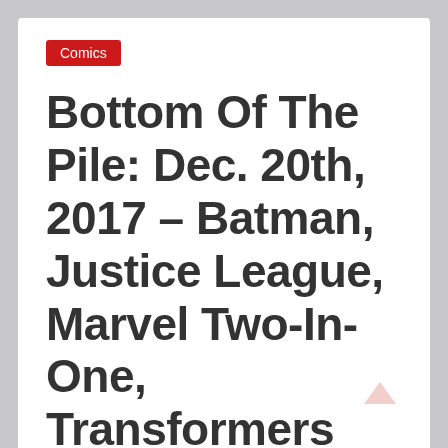Comics
Bottom Of The Pile: Dec. 20th, 2017 – Batman, Justice League, Marvel Two-In-One, Transformers Annual
by Sage Ashford
Welcome back to Bottom of the Pile, where I talk about some of my favorite comics on a week to week basis, the series that I personally save until the end...